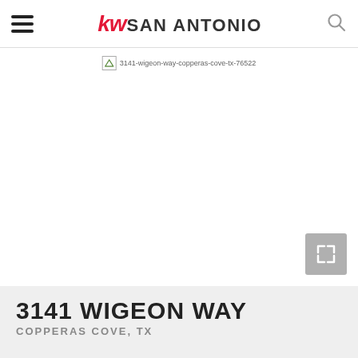kw SAN ANTONIO
[Figure (photo): Broken image placeholder for property photo at 3141 Wigeon Way, Copperas Cove, TX 76522. Image filename: 3141-wigeon-way-copperas-cove-tx-76522. With expand button overlay in bottom right corner.]
3141 WIGEON WAY
COPPERAS COVE, TX